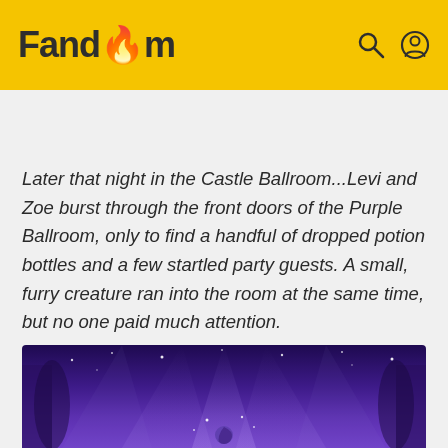Fandom
Later that night in the Castle Ballroom...Levi and Zoe burst through the front doors of the Purple Ballroom, only to find a handful of dropped potion bottles and a few startled party guests. A small, furry creature ran into the room at the same time, but no one paid much attention.
[Figure (illustration): A purple ballroom interior with dramatic stage lighting, spotlights beaming down, and a cosmic/fantasy atmosphere with stars and a crescent moon symbol at the bottom center.]